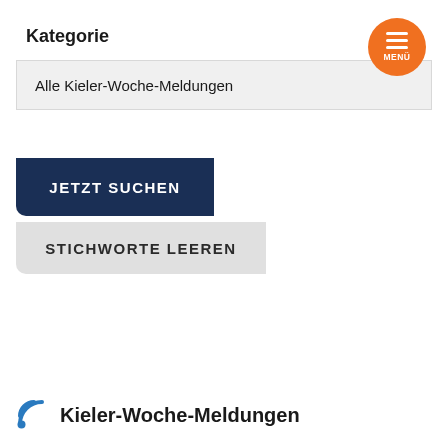Kategorie
Alle Kieler-Woche-Meldungen
[Figure (screenshot): Orange circular menu button with three white horizontal lines and MENÜ label]
JETZT SUCHEN
STICHWORTE LEEREN
Kieler-Woche-Meldungen